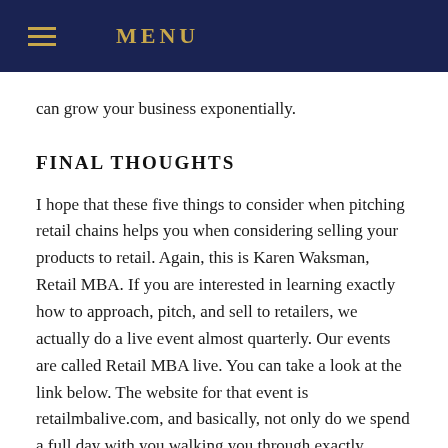MENU
can grow your business exponentially.
FINAL THOUGHTS
I hope that these five things to consider when pitching retail chains helps you when considering selling your products to retail. Again, this is Karen Waksman, Retail MBA. If you are interested in learning exactly how to approach, pitch, and sell to retailers, we actually do a live event almost quarterly. Our events are called Retail MBA live. You can take a look at the link below. The website for that event is retailmbalive.com, and basically, not only do we spend a full day with you walking you through exactly